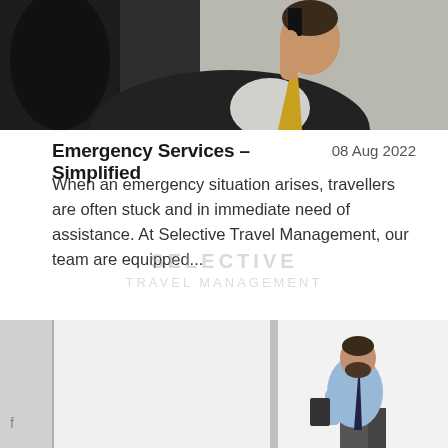[Figure (photo): A businessman in a dark suit and yellow tie sitting in a car, talking on a mobile phone, photographed from a close angle.]
Emergency Services – Simplified
08 Aug 2022
When an emergency situation arises, travellers are often stuck and in immediate need of assistance. At Selective Travel Management, our team are equipped...
[Figure (photo): A man in a light blue shirt holding a tablet, standing in a modern office environment with large windows and grey pillars in the background.]